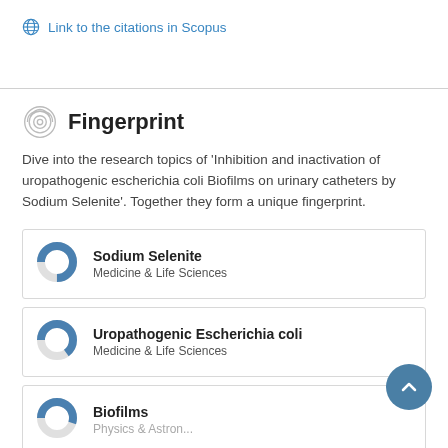Link to the citations in Scopus
Fingerprint
Dive into the research topics of 'Inhibition and inactivation of uropathogenic escherichia coli Biofilms on urinary catheters by Sodium Selenite'. Together they form a unique fingerprint.
Sodium Selenite
Medicine & Life Sciences
Uropathogenic Escherichia coli
Medicine & Life Sciences
Biofilms
Physics & Astronomy